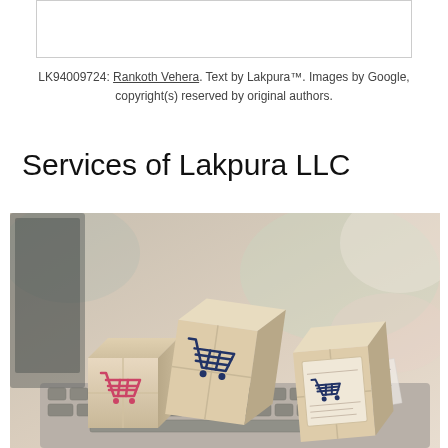[Figure (other): Partial top image, white box with border (top portion of a previously shown image)]
LK94009724: Rankoth Vehera. Text by Lakpura™. Images by Google, copyright(s) reserved by original authors.
Services of Lakpura LLC
[Figure (photo): Photo of cardboard delivery boxes with shopping cart icons on them, sitting on a laptop keyboard, blurred pastel background]